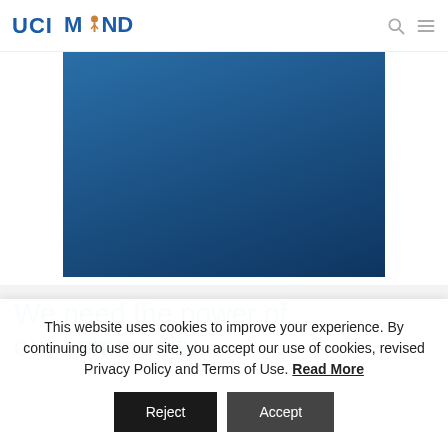UCI MIND
[Figure (photo): Blue gradient rectangle representing a hero/banner image area on the UCI MIND website]
We need the power of our community
This website uses cookies to improve your experience. By continuing to use our site, you accept our use of cookies, revised Privacy Policy and Terms of Use. Read More
Reject  Accept